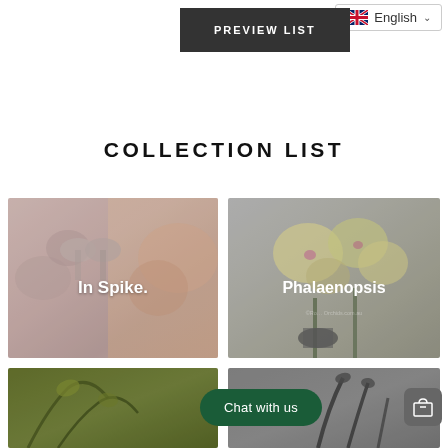[Figure (screenshot): Language selector dropdown showing UK flag and 'English' text with chevron]
[Figure (screenshot): Dark grey 'PREVIEW LIST' button]
COLLECTION LIST
[Figure (photo): Collection card showing blurred flower/plant imagery with 'In Spike.' label overlay]
[Figure (photo): Collection card showing yellow Phalaenopsis orchids with 'Phalaenopsis' label overlay]
[Figure (photo): Partial collection card at bottom left showing green plant]
[Figure (photo): Partial collection card at bottom right showing dark plants on grey background]
Chat with us